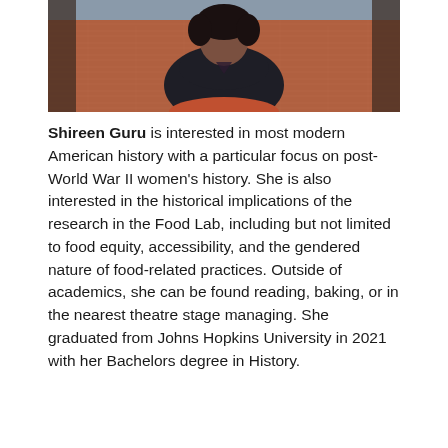[Figure (photo): Portrait photo of Shireen Guru standing in front of a brick building. She is wearing a dark top and has curly hair. The background shows brick architecture and what appears to be a covered walkway.]
Shireen Guru is interested in most modern American history with a particular focus on post-World War II women's history. She is also interested in the historical implications of the research in the Food Lab, including but not limited to food equity, accessibility, and the gendered nature of food-related practices. Outside of academics, she can be found reading, baking, or in the nearest theatre stage managing. She graduated from Johns Hopkins University in 2021 with her Bachelors degree in History.